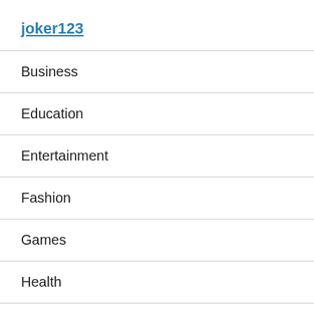joker123
Business
Education
Entertainment
Fashion
Games
Health
Home